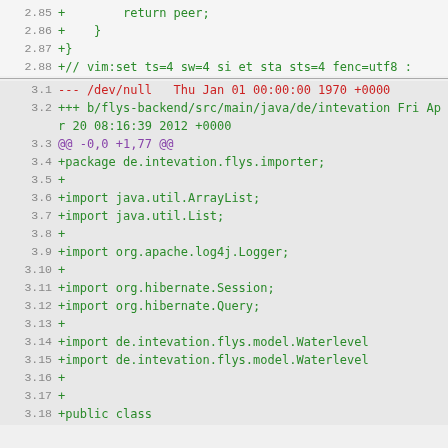Code diff view showing file changes with line numbers, additions in green, deletions in red, and hunk headers in purple.
2.85 +        return peer;
2.86 +    }
2.87 +}
2.88 +// vim:set ts=4 sw=4 si et sta sts=4 fenc=utf8 :
3.1 --- /dev/null   Thu Jan 01 00:00:00 1970 +0000
3.2 +++ b/flys-backend/src/main/java/de/intevation...  Fri Apr 20 08:16:39 2012 +0000
3.3 @@ -0,0 +1,77 @@
3.4 +package de.intevation.flys.importer;
3.5 +
3.6 +import java.util.ArrayList;
3.7 +import java.util.List;
3.8 +
3.9 +import org.apache.log4j.Logger;
3.10 +
3.11 +import org.hibernate.Session;
3.12 +import org.hibernate.Query;
3.13 +
3.14 +import de.intevation.flys.model.Waterlevel...
3.15 +import de.intevation.flys.model.Waterlevel...
3.16 +
3.17 +
3.18 +public class